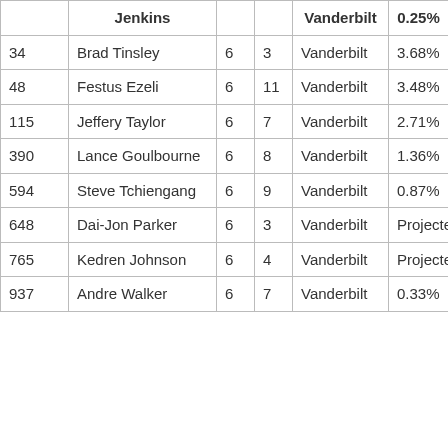|  | Jenkins |  |  | Vanderbilt | 0.25% |
| --- | --- | --- | --- | --- | --- |
| 34 | Brad Tinsley | 6 | 3 | Vanderbilt | 3.68% |
| 48 | Festus Ezeli | 6 | 11 | Vanderbilt | 3.48% |
| 115 | Jeffery Taylor | 6 | 7 | Vanderbilt | 2.71% |
| 390 | Lance Goulbourne | 6 | 8 | Vanderbilt | 1.36% |
| 594 | Steve Tchiengang | 6 | 9 | Vanderbilt | 0.87% |
| 648 | Dai-Jon Parker | 6 | 3 | Vanderbilt | Projected |
| 765 | Kedren Johnson | 6 | 4 | Vanderbilt | Projected |
| 937 | Andre Walker | 6 | 7 | Vanderbilt | 0.33% |